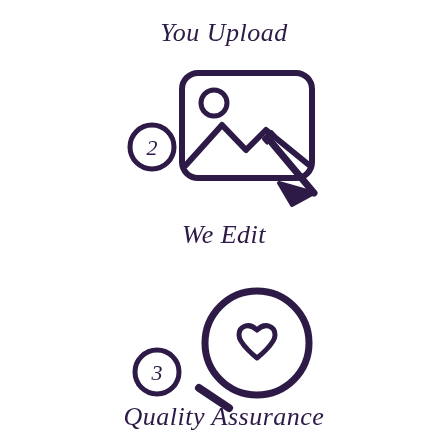You Upload
[Figure (illustration): Step 2 icon: a circled number 2 next to an image/photo icon with a pencil/edit arrow overlay, drawn in dark purple outline style]
We Edit
[Figure (illustration): Step 3 icon: a circled number 3 next to a magnifying glass with a heart inside, drawn in dark purple outline style]
Quality Assurance